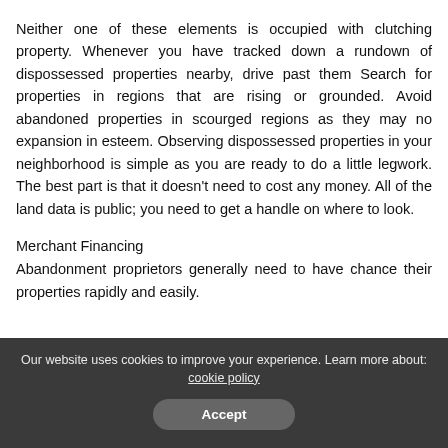Neither one of these elements is occupied with clutching property. Whenever you have tracked down a rundown of dispossessed properties nearby, drive past them Search for properties in regions that are rising or grounded. Avoid abandoned properties in scourged regions as they may no expansion in esteem. Observing dispossessed properties in your neighborhood is simple as you are ready to do a little legwork. The best part is that it doesn't need to cost any money. All of the land data is public; you need to get a handle on where to look.
Merchant Financing
Abandonment proprietors generally need to have chance their properties rapidly and easily.
Our website uses cookies to improve your experience. Learn more about: cookie policy  Accept